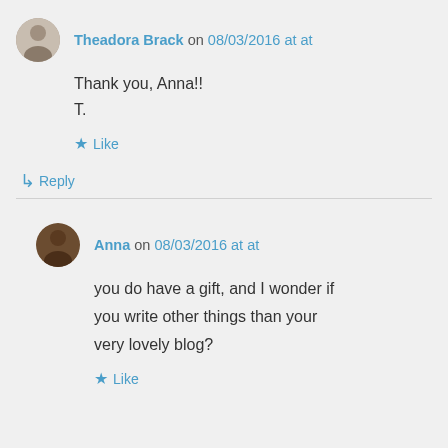Theadora Brack on 08/03/2016 at at
Thank you, Anna!!
T.
Like
Reply
Anna on 08/03/2016 at at
you do have a gift, and I wonder if you write other things than your very lovely blog?
Like